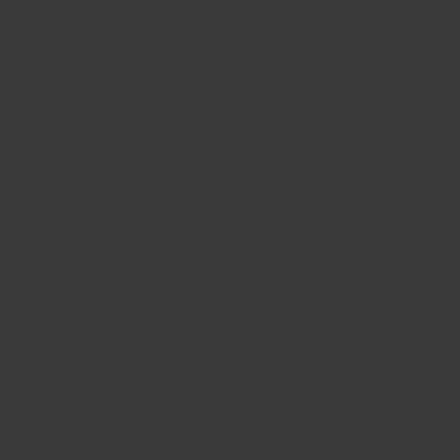Fake Item 1 = ?
Mushroom = 4
Triple Mushroom = 5
Bob-omb = 6
Blue Shell = 7
Lightning = 8
Star = 9
Golden Mushroom =
Mega Mushroom =
Blooper = C
POW = D
Cloud = E
Bullet Bill = F
Triple Green Shell =
Triple Red Shell = 1
Triple Banana = 12
NTSC-U:
C27ADEE8 000000
3D808000 988CXX
90830004 0000000